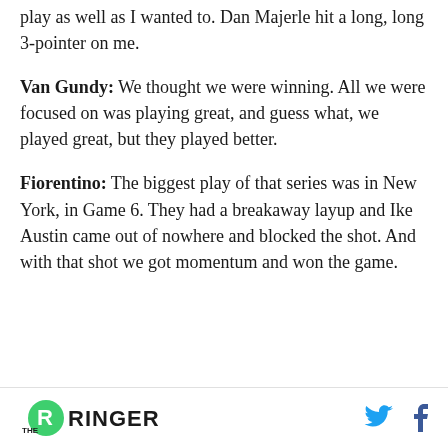play as well as I wanted to. Dan Majerle hit a long, long 3-pointer on me.
Van Gundy: We thought we were winning. All we were focused on was playing great, and guess what, we played great, but they played better.
Fiorentino: The biggest play of that series was in New York, in Game 6. They had a breakaway layup and Ike Austin came out of nowhere and blocked the shot. And with that shot we got momentum and won the game.
The Ringer